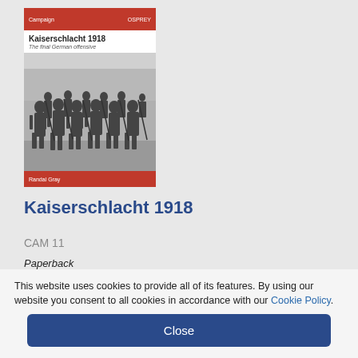[Figure (photo): Book cover of 'Kaiserschlacht 1918: The final German offensive' from the Campaign series by Osprey. Red top and bottom bars with white text, white title area, black and white photo of soldiers marching.]
Kaiserschlacht 1918
CAM 11
Paperback
$24.00
$16.80
This website uses cookies to provide all of its features. By using our website you consent to all cookies in accordance with our Cookie Policy.
Close